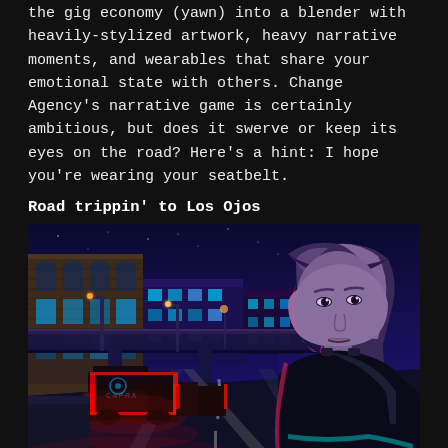the gig economy (yawn) into a blender with heavily-stylized artwork, heavy narrative moments, and wearables that share your emotional state with others. Change Agency's narrative game is certainly ambitious, but does it swerve or keep its eyes on the road? Here's a hint: I hope you're wearing your seatbelt.
Road trippin' to Los Ojos
[Figure (illustration): Stylized night-time cyberpunk scene: a woman with bangs and long hair in a dark outfit stands in the foreground on the right side of a road, with red-lit vehicles traveling along a city street behind her, street lamps, a bridge overpass, and dark blue glowing buildings in the background under a starry night sky.]